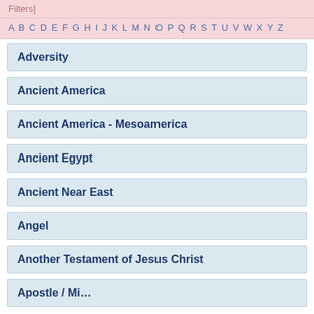Filters]
A B C D E F G H I J K L M N O P Q R S T U V W X Y Z
Adversity
Ancient America
Ancient America - Mesoamerica
Ancient Egypt
Ancient Near East
Angel
Another Testament of Jesus Christ
Apostle / Mi...